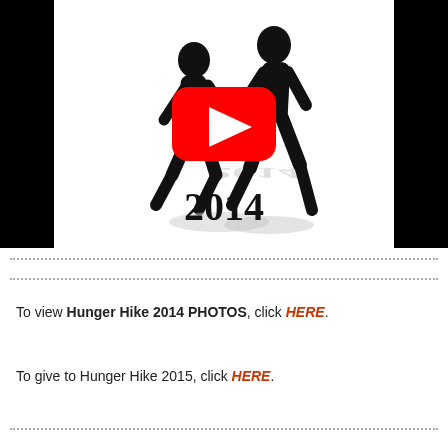[Figure (screenshot): YouTube video thumbnail showing silhouette of two runners against black and white background, with YouTube play button overlay and '2014' text below runners]
To view Hunger Hike 2014 PHOTOS, click HERE.
To give to Hunger Hike 2015, click HERE.